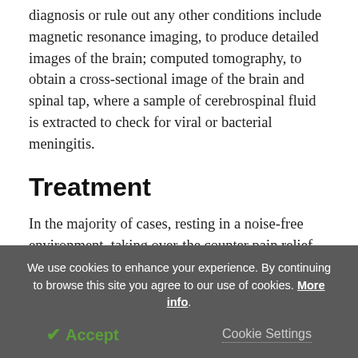diagnosis or rule out any other conditions include magnetic resonance imaging, to produce detailed images of the brain; computed tomography, to obtain a cross-sectional image of the brain and spinal tap, where a sample of cerebrospinal fluid is extracted to check for viral or bacterial meningitis.
Treatment
In the majority of cases, resting in a noise-free environment, taking over-the counter pain relief medication and drinking plenty of fluid is enough to
We use cookies to enhance your experience. By continuing to browse this site you agree to our use of cookies. More info.